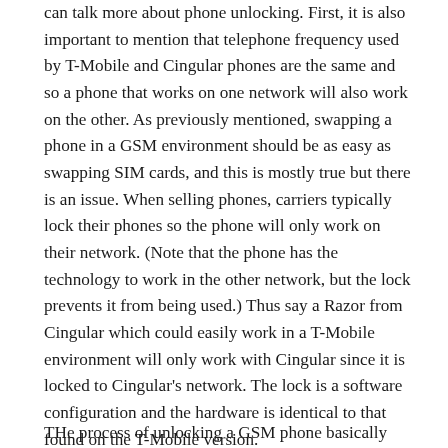can talk more about phone unlocking. First, it is also important to mention that telephone frequency used by T-Mobile and Cingular phones are the same and so a phone that works on one network will also work on the other. As previously mentioned, swapping a phone in a GSM environment should be as easy as swapping SIM cards, and this is mostly true but there is an issue. When selling phones, carriers typically lock their phones so the phone will only work on their network. (Note that the phone has the technology to work in the other network, but the lock prevents it from being used.) Thus say a Razor from Cingular which could easily work in a T-Mobile environment will only work with Cingular since it is locked to Cingular's network. The lock is a software configuration and the hardware is identical to that found on the T-Mobile version.
THe process of unlocking a GSM phone basically